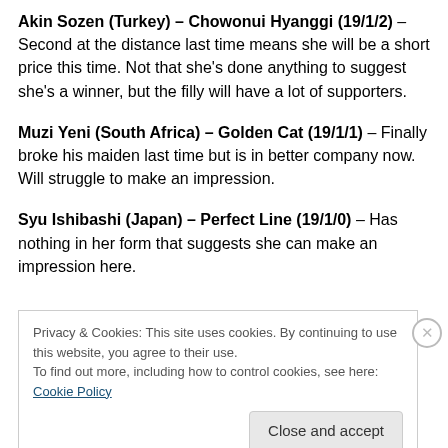Akin Sozen (Turkey) – Chowonui Hyanggi (19/1/2) – Second at the distance last time means she will be a short price this time. Not that she's done anything to suggest she's a winner, but the filly will have a lot of supporters.
Muzi Yeni (South Africa) – Golden Cat (19/1/1) – Finally broke his maiden last time but is in better company now. Will struggle to make an impression.
Syu Ishibashi (Japan) – Perfect Line (19/1/0) – Has nothing in her form that suggests she can make an impression here.
Privacy & Cookies: This site uses cookies. By continuing to use this website, you agree to their use. To find out more, including how to control cookies, see here: Cookie Policy